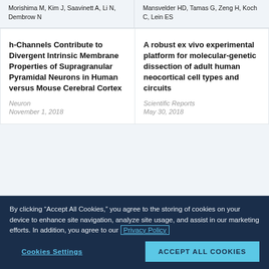Morishima M, Kim J, Saavinett A, Li N, Dembrow N
Mansvelder HD, Tamas G, Zeng H, Koch C, Lein ES
h-Channels Contribute to Divergent Intrinsic Membrane Properties of Supragranular Pyramidal Neurons in Human versus Mouse Cerebral Cortex
Neuron
November 1, 2018
A robust ex vivo experimental platform for molecular-genetic dissection of adult human neocortical cell types and circuits
Scientific Reports
May 30, 2018
By clicking “Accept All Cookies,” you agree to the storing of cookies on your device to enhance site navigation, analyze site usage, and assist in our marketing efforts. In addition, you agree to our Privacy Policy
Cookies Settings
ACCEPT ALL COOKIES